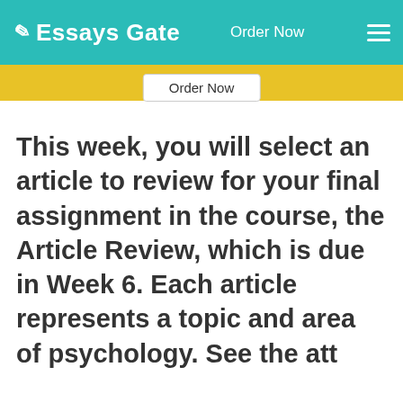Essays Gate  Order Now
[Figure (screenshot): Yellow navigation bar with Order Now button]
This week, you will select an article to review for your final assignment in the course, the Article Review, which is due in Week 6. Each article represents a topic and area of psychology. See the att